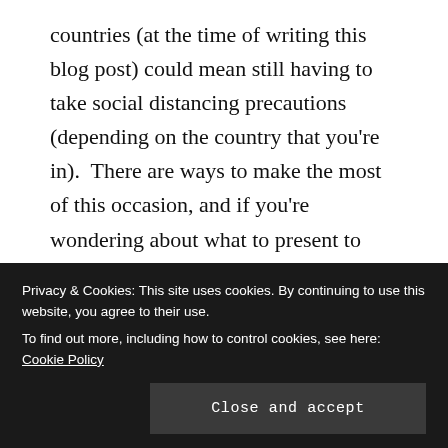countries (at the time of writing this blog post) could mean still having to take social distancing precautions (depending on the country that you're in).  There are ways to make the most of this occasion, and if you're wondering about what to present to your mom, read my special gift guide.

In this blog post, I'll suggest 3 helpful ideas as a gift guide
Privacy & Cookies: This site uses cookies. By continuing to use this website, you agree to their use.
To find out more, including how to control cookies, see here: Cookie Policy
Close and accept
1. Flowers